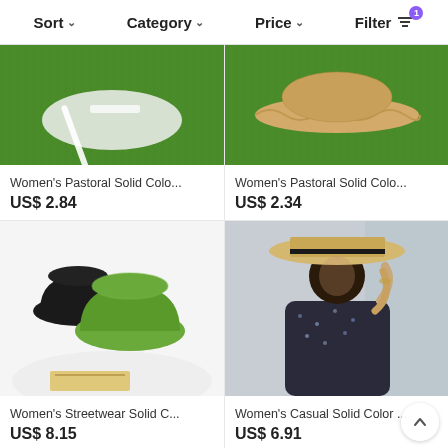Sort  Category  Price  Filter
[Figure (photo): White ribbon/lace hat on green grass background – Women's Pastoral Solid Color hat]
[Figure (photo): Beige straw sun hat with wavy brim on green grass – Women's Pastoral Solid Color hat]
Women's Pastoral Solid Colo...
US$ 2.84
Women's Pastoral Solid Colo...
US$ 2.34
[Figure (photo): Black and green bucket hats on white surface – Women's Streetwear Solid Color hat]
[Figure (photo): Woman wearing beige straw flat-top hat with black ribbon, in floral dress – Women's Casual Solid Color hat]
Women's Streetwear Solid C...
US$ 8.15
Women's Casual Solid Color ...
US$ 6.91